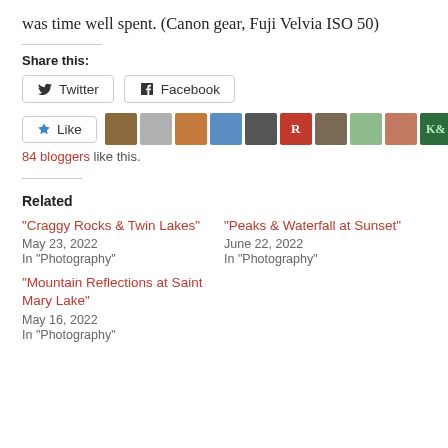was time well spent. (Canon gear, Fuji Velvia ISO 50)
Share this:
Twitter  Facebook
[Figure (infographic): Like button with star icon, followed by a strip of 10 blogger avatar thumbnails]
84 bloggers like this.
Related
"Craggy Rocks & Twin Lakes"
May 23, 2022
In "Photography"
"Peaks & Waterfall at Sunset"
June 22, 2022
In "Photography"
"Mountain Reflections at Saint Mary Lake"
May 16, 2022
In "Photography"